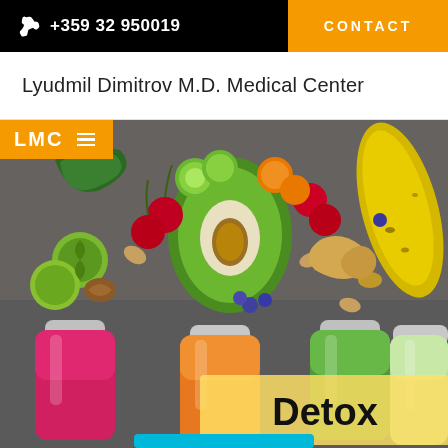+359 32 950019  CONTACT
Lyudmil Dimitrov M.D. Medical Center
[Figure (photo): A flat-lay photo of fresh fruits and vegetables (avocado, cherries, cucumber, carrots, banana, brussels sprouts, almonds, ginger, blueberries) alongside five colorful juice bottles (pink/red, orange, green, light green, partial yellow) on a dark background. Overlaid text reads 'Detox' and an orange 'LMC' navigation badge is visible in the upper left.]